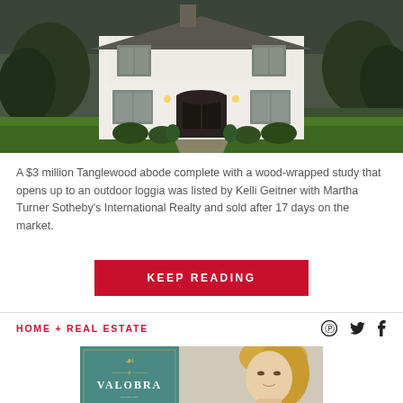[Figure (photo): Exterior photo of a large white two-story Tanglewood home at dusk with illuminated windows, a stone pathway through a green lawn, and trees framing the house.]
A $3 million Tanglewood abode complete with a wood-wrapped study that opens up to an outdoor loggia was listed by Kelli Geitner with Martha Turner Sotheby's International Realty and sold after 17 days on the market.
KEEP READING
HOME + REAL ESTATE
[Figure (photo): Bottom banner showing Valobra logo on teal background on the left and a headshot of a blonde woman on the right.]